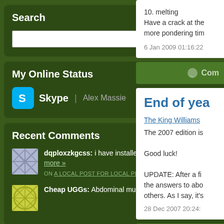Search
Search input and button
My Online Status
Skype | Alex Massie
Recent Comments
dqploxzkgcss: i have installed window 7 and i am getting a mi... more » ON A LOCAL POST FOR LOCAL PEOPLE
Cheap UGGs: Abdominal muscles initial boot footwear were be... more »
10. melting
Have a crack at the
more pondering tim
6 Jan 2009 01:16:22
Com
End of yea
The King Williams
The 2007 edition is
Good luck!
UPDATE: After a fi
the answers to abo
others. As I say, it's
28 Dec 2007 20:24:
Com